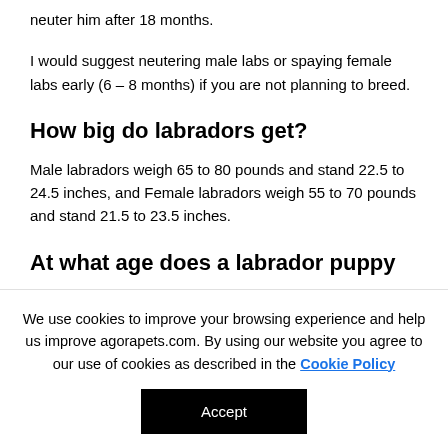neuter him after 18 months.
I would suggest neutering male labs or spaying female labs early (6 – 8 months) if you are not planning to breed.
How big do labradors get?
Male labradors weigh 65 to 80 pounds and stand 22.5 to 24.5 inches, and Female labradors weigh 55 to 70 pounds and stand 21.5 to 23.5 inches.
At what age does a labrador puppy
We use cookies to improve your browsing experience and help us improve agorapets.com. By using our website you agree to our use of cookies as described in the Cookie Policy
Accept